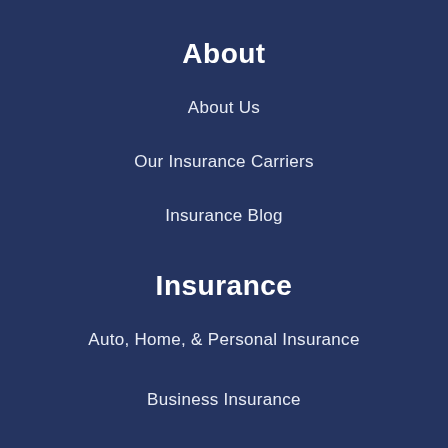About
About Us
Our Insurance Carriers
Insurance Blog
Insurance
Auto, Home, & Personal Insurance
Business Insurance